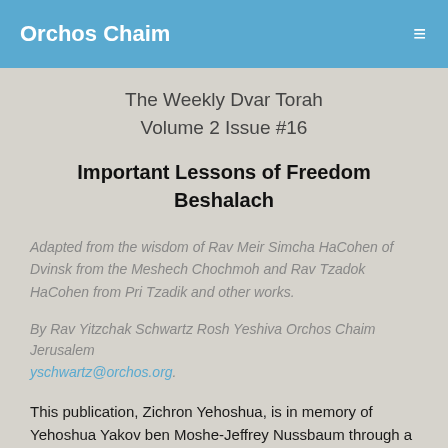Orchos Chaim
The Weekly Dvar Torah
Volume 2 Issue #16
Important Lessons of Freedom Beshalach
Adapted from the wisdom of Rav Meir Simcha HaCohen of Dvinsk from the Meshech Chochmoh and Rav Tzadok HaCohen from Pri Tzadik and other works.
By Rav Yitzchak Schwartz Rosh Yeshiva Orchos Chaim Jerusalem yschwartz@orchos.org.
This publication, Zichron Yehoshua, is in memory of Yehoshua Yakov ben Moshe-Jeffrey Nussbaum through a generous grant from Dr. Eric Nussbaum and family.